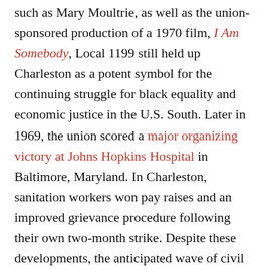such as Mary Moultrie, as well as the union-sponsored production of a 1970 film, I Am Somebody, Local 1199 still held up Charleston as a potent symbol for the continuing struggle for black equality and economic justice in the U.S. South. Later in 1969, the union scored a major organizing victory at Johns Hopkins Hospital in Baltimore, Maryland. In Charleston, sanitation workers won pay raises and an improved grievance procedure following their own two-month strike. Despite these developments, the anticipated wave of civil rights and labor protests across the United States in the 1970s never materialized. Volunteers kept Local 1199B alive in Charleston for a few years, but